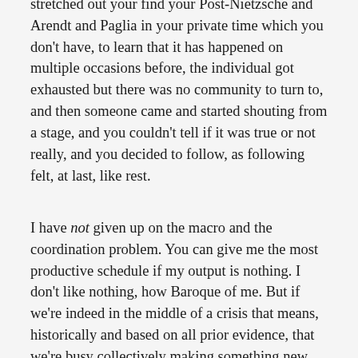stretched out your find your Post-Nietzsche and Arendt and Paglia in your private time which you don't have, to learn that it has happened on multiple occasions before, the individual got exhausted but there was no community to turn to, and then someone came and started shouting from a stage, and you couldn't tell if it was true or not really, and you decided to follow, as following felt, at last, like rest.
I have not given up on the macro and the coordination problem. You can give me the most productive schedule if my output is nothing. I don't like nothing, how Baroque of me. But if we're indeed in the middle of a crisis that means, historically and based on all prior evidence, that we're busy collectively making something new already, with the labour and the pain, etc., included. I'd say I want to find the right words to describe it, but that wouldn't be true. In fact, I want to